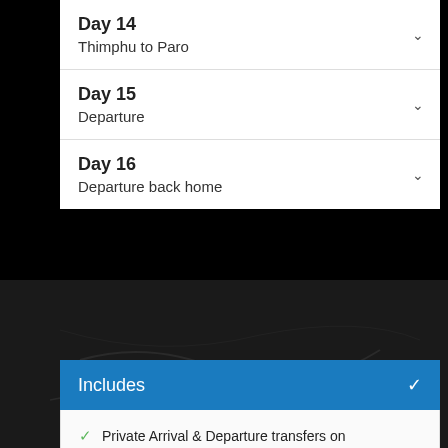Day 14 — Thimphu to Paro
Day 15 — Departure
Day 16 — Departure back home
[Figure (map): Dark background map showing Kathmandu region]
Includes
Private Arrival & Departure transfers on both domestic and international flights.